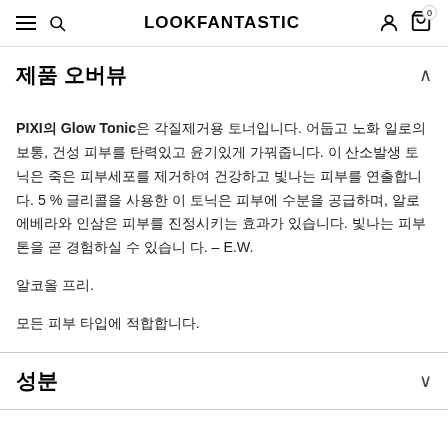LOOKFANTASTIC
제품 오버뷰
PIXI의 Glow Tonic은 각질제거용 토너입니다. 어둡고 노화 일로의 보통, 건성 피부를 탄력있고 윤기있게 가꿔줍니다. 이산소발생 토닉은 죽은 피부세포를 제거하여 건강하고 빛나는 피부를 연출합니다. 5 % 글리콜을 사용한 이 토닉은 피부에 수분을 공급하며, 알로에베라와 인삼은 피부를 진정시키는 효과가 있습니다. 빛나는 피부톤을 곧 경험하실 수 있습니다. – E.W.
알코올 프리.
모든 피부 타입에 적합합니다.
성분